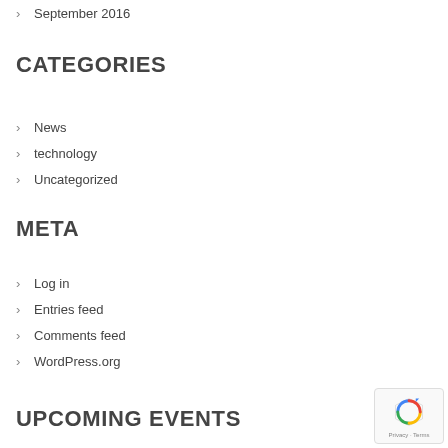September 2016
CATEGORIES
News
technology
Uncategorized
META
Log in
Entries feed
Comments feed
WordPress.org
UPCOMING EVENTS